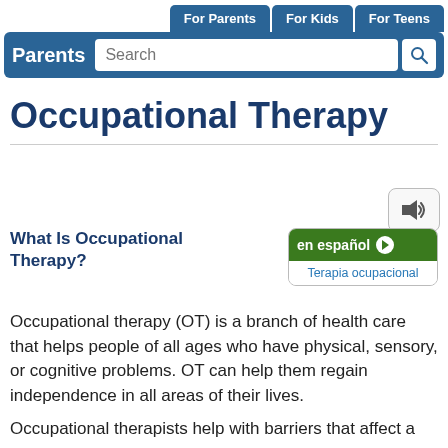For Parents | For Kids | For Teens
Parents  Search
Occupational Therapy
What Is Occupational Therapy?
Occupational therapy (OT) is a branch of health care that helps people of all ages who have physical, sensory, or cognitive problems. OT can help them regain independence in all areas of their lives.
Occupational therapists help with barriers that affect a